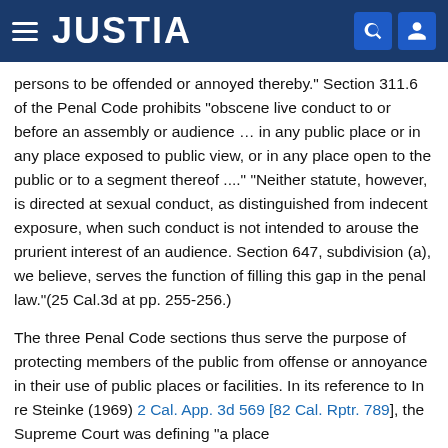JUSTIA
persons to be offended or annoyed thereby." Section 311.6 of the Penal Code prohibits "obscene live conduct to or before an assembly or audience … in any public place or in any place exposed to public view, or in any place open to the public or to a segment thereof ...." "Neither statute, however, is directed at sexual conduct, as distinguished from indecent exposure, when such conduct is not intended to arouse the prurient interest of an audience. Section 647, subdivision (a), we believe, serves the function of filling this gap in the penal law."(25 Cal.3d at pp. 255-256.)
The three Penal Code sections thus serve the purpose of protecting members of the public from offense or annoyance in their use of public places or facilities. In its reference to In re Steinke (1969) 2 Cal. App. 3d 569 [82 Cal. Rptr. 789], the Supreme Court was defining "a place